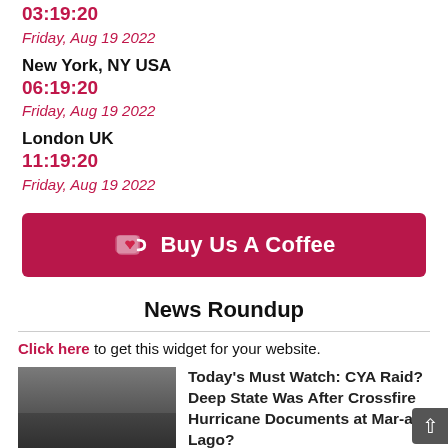03:19:20
Friday, Aug 19 2022
New York, NY USA
06:19:20
Friday, Aug 19 2022
London UK
11:19:20
Friday, Aug 19 2022
[Figure (other): Buy Us A Coffee button with coffee cup icon]
News Roundup
Click here to get this widget for your website.
Today's Must Watch: CYA Raid? Deep State Was After Crossfire Hurricane Documents at Mar-a-Lago?